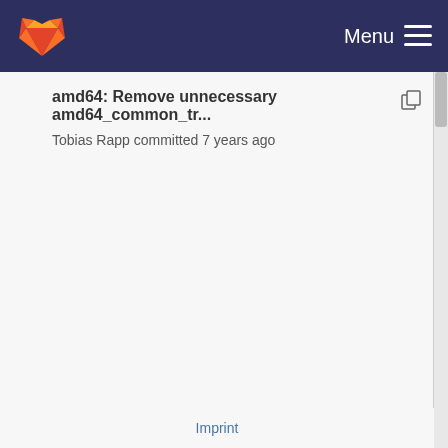Menu
amd64: Remove unnecessary amd64_common_tr...
Tobias Rapp committed 7 years ago
Imprint